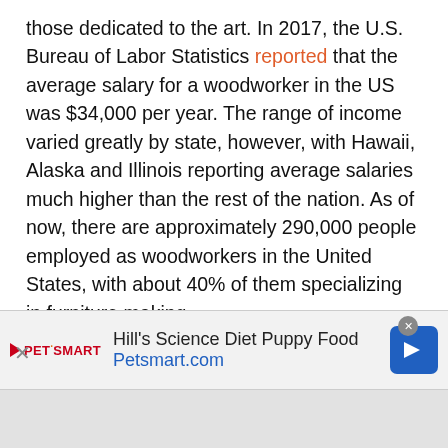those dedicated to the art. In 2017, the U.S. Bureau of Labor Statistics reported that the average salary for a woodworker in the US was $34,000 per year. The range of income varied greatly by state, however, with Hawaii, Alaska and Illinois reporting average salaries much higher than the rest of the nation. As of now, there are approximately 290,000 people employed as woodworkers in the United States, with about 40% of them specializing in furniture making.
#13 Roll-Up Tool Box I Made... I Ended Up Making A Lid For The Last Compartment So My Stuff Didn't
[Figure (other): PetSmart advertisement banner for Hill's Science Diet Puppy Food with Petsmart.com URL and blue arrow button]